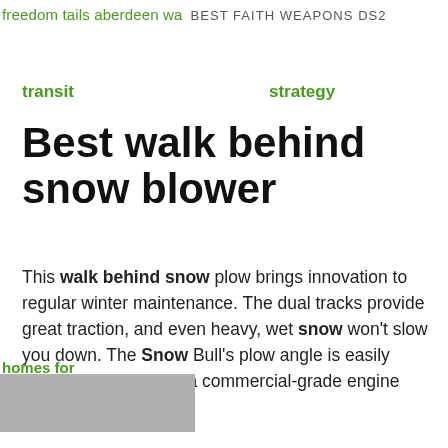freedom tails aberdeen wa BEST FAITH WEAPONS DS2
transit   strategy
Best walk behind snow blower
This walk behind snow plow brings innovation to regular winter maintenance. The dual tracks provide great traction, and even heavy, wet snow won't slow you down. The Snow Bull's plow angle is easily adjustable, ... A Honda commercial-grade engine safely powers the
homes for sale alabama